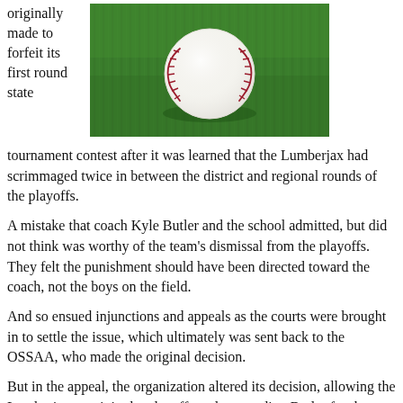originally made to forfeit its first round state
[Figure (photo): A baseball resting on green grass, viewed from above at a slight angle, with red stitching visible.]
tournament contest after it was learned that the Lumberjax had scrimmaged twice in between the district and regional rounds of the playoffs.
A mistake that coach Kyle Butler and the school admitted, but did not think was worthy of the team's dismissal from the playoffs. They felt the punishment should have been directed toward the coach, not the boys on the field.
And so ensued injunctions and appeals as the courts were brought in to settle the issue, which ultimately was sent back to the OSSAA, who made the original decision.
But in the appeal, the organization altered its decision, allowing the Lumberjax to rejoin the playoffs and suspending Butler for the remainder of the season and through the first semester of next year.
A win-win?  Maybe.  But on the field Thursday, a Wright City